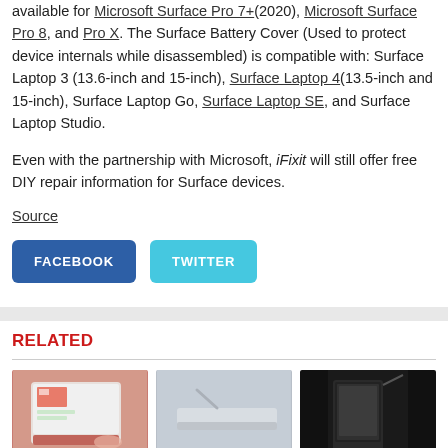available for Microsoft Surface Pro 7+ (2020), Microsoft Surface Pro 8, and Pro X. The Surface Battery Cover (Used to protect device internals while disassembled) is compatible with: Surface Laptop 3 (13.6-inch and 15-inch), Surface Laptop 4 (13.5-inch and 15-inch), Surface Laptop Go, Surface Laptop SE, and Surface Laptop Studio.
Even with the partnership with Microsoft, iFixit will still offer free DIY repair information for Surface devices.
Source
[Figure (infographic): Facebook and Twitter share buttons]
RELATED
[Figure (photo): Photo of a Surface tablet with red keyboard cover on a desk]
[Figure (photo): Photo of a silver Surface device accessory on white background]
[Figure (photo): Photo of a Surface device with dark background]